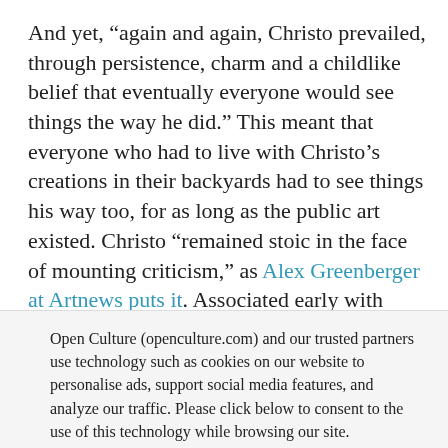And yet, “again and again, Christo prevailed, through persistence, charm and a childlike belief that eventually everyone would see things the way he did.” This meant that everyone who had to live with Christo’s creations in their backyards had to see things his way too, for as long as the public art existed. Christo “remained stoic in the face of mounting criticism,” as Alex Greenberger at Artnews puts it. Associated early with Situationism and
Open Culture (openculture.com) and our trusted partners use technology such as cookies on our website to personalise ads, support social media features, and analyze our traffic. Please click below to consent to the use of this technology while browsing our site.
Cookie settings   ACCEPT